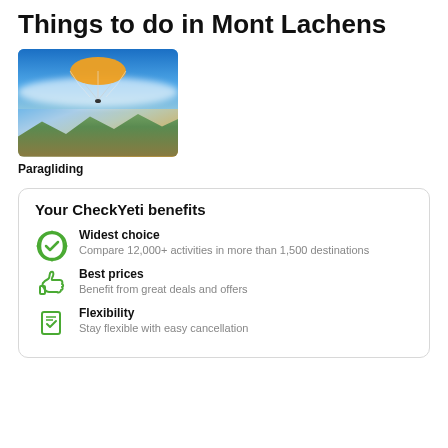Things to do in Mont Lachens
[Figure (photo): Paragliding over mountain landscape with blue sky and clouds, orange parachute visible from above]
Paragliding
Your CheckYeti benefits
Widest choice - Compare 12,000+ activities in more than 1,500 destinations
Best prices - Benefit from great deals and offers
Flexibility - Stay flexible with easy cancellation